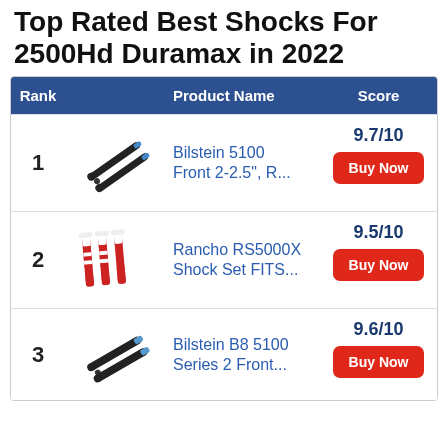Top Rated Best Shocks For 2500Hd Duramax in 2022
| Rank | Product Name | Score |
| --- | --- | --- |
| 1 | Bilstein 5100 Front 2-2.5", R... | 9.7/10 |
| 2 | Rancho RS5000X Shock Set FITS... | 9.5/10 |
| 3 | Bilstein B8 5100 Series 2 Front... | 9.6/10 |